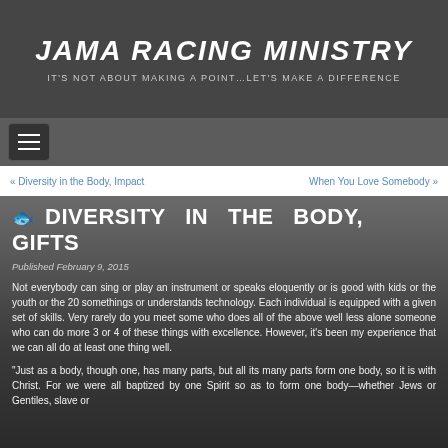JAMA RACING MINISTRY
IT'S NOT ABOUT MAKING A POINT…LET'S MAKE A DIFFERENCE
« Diversity in the Body, Impact    When You Love Somebody »
DIVERSITY IN THE BODY, GIFTS
Published February 9, 2015
Not everybody can sing or play an instrument or speaks eloquently or is good with kids or the youth or the 20 somethings or understands technology. Each individual is equipped with a given set of skills. Very rarely do you meet some who does all of the above well less alone someone who can do more 3 or 4 of these things with excellence. However, it's been my experience that we can all do at least one thing well.
“Just as a body, though one, has many parts, but all its many parts form one body, so it is with Christ. For we were all baptized by one Spirit so as to form one body—whether Jews or Gentiles, slave or